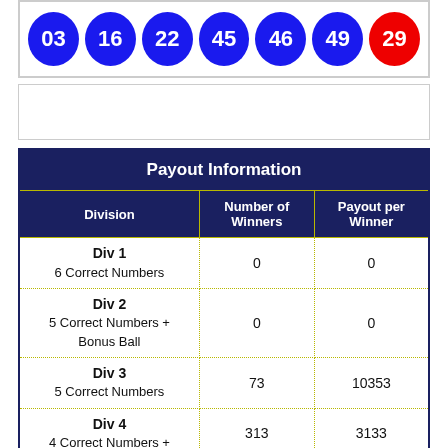[Figure (other): Lottery draw result showing 6 blue balls numbered 03, 16, 22, 45, 46, 49 and one red bonus ball numbered 29]
| Division | Number of Winners | Payout per Winner |
| --- | --- | --- |
| Div 1
6 Correct Numbers | 0 | 0 |
| Div 2
5 Correct Numbers + Bonus Ball | 0 | 0 |
| Div 3
5 Correct Numbers | 73 | 10353 |
| Div 4
4 Correct Numbers + | 313 | 3133 |